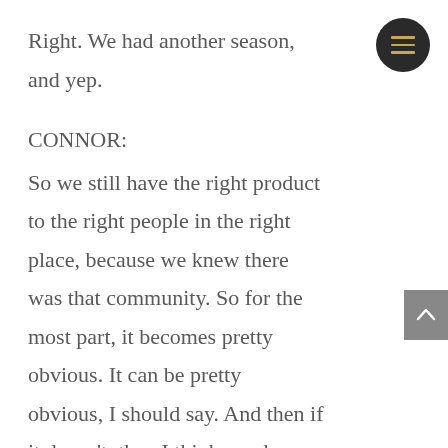Right. We had another season, and yep.
CONNOR:
So we still have the right product to the right people in the right place, because we knew there was that community. So for the most part, it becomes pretty obvious. It can be pretty obvious, I should say. And then if it doesn't, then I think you have to go back and reevaluate the